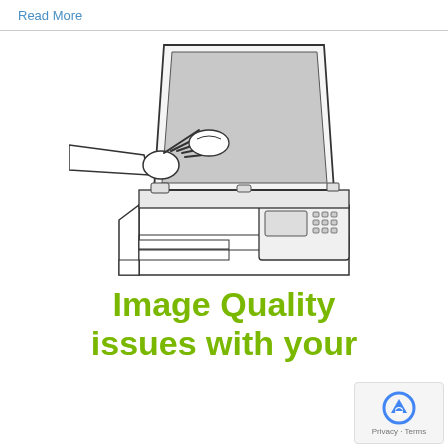Read More
[Figure (illustration): Line drawing illustration of a hand cleaning or wiping the glass platen of an open photocopier/scanner lid, with the copier machine body visible below including control panel with buttons and screen.]
Image Quality issues with your